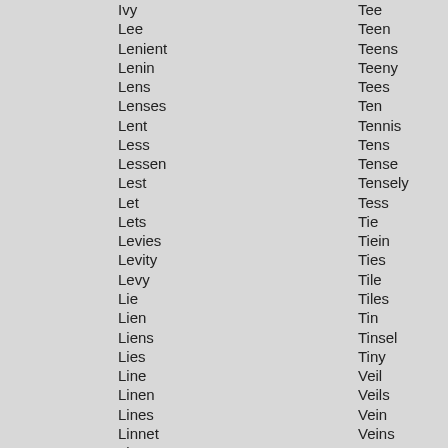Ivy
Lee
Lenient
Lenin
Lens
Lenses
Lent
Less
Lessen
Lest
Let
Lets
Levies
Levity
Levy
Lie
Lien
Liens
Lies
Line
Linen
Lines
Linnet
Lint
List
Tee
Teen
Teens
Teeny
Tees
Ten
Tennis
Tens
Tense
Tensely
Tess
Tie
Tiein
Ties
Tile
Tiles
Tin
Tinsel
Tiny
Veil
Veils
Vein
Veins
Vent
Vents